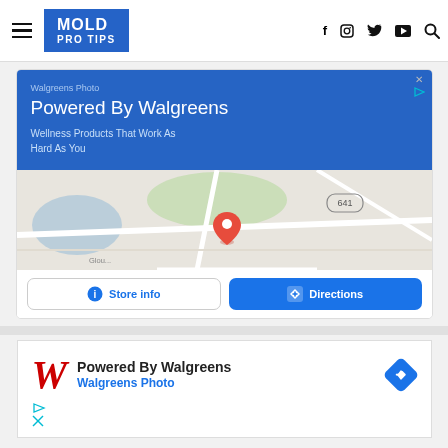MOLD PRO TIPS — Navigation bar with hamburger menu, logo, social icons (f, Instagram, Twitter, YouTube, Search)
[Figure (screenshot): Walgreens Photo Google Maps advertisement. Blue header: 'Walgreens Photo — Powered By Walgreens — Wellness Products That Work As Hard As You'. Below is a Google Maps snippet with a red location pin near route 641. Buttons: 'Store info' and 'Directions'.]
[Figure (screenshot): Second Walgreens ad banner: Walgreens cursive W logo in red, 'Powered By Walgreens' in bold black, 'Walgreens Photo' in blue, blue diamond directions icon on right. Ad attribution arrows and X below.]